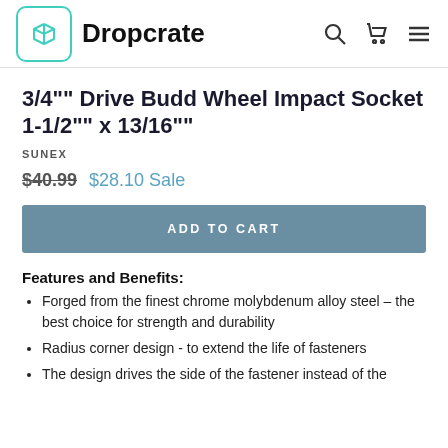Dropcrate
3/4"" Drive Budd Wheel Impact Socket 1-1/2"" x 13/16""
SUNEX
$40.99  $28.10 Sale
ADD TO CART
Features and Benefits:
Forged from the finest chrome molybdenum alloy steel – the best choice for strength and durability
Radius corner design - to extend the life of fasteners
The design drives the side of the fastener instead of the